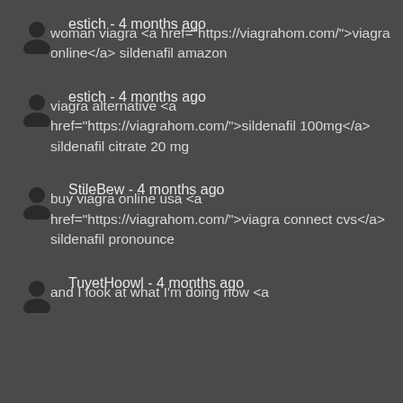estich - 4 months ago
woman viagra <a href="https://viagrahom.com/">viagra online</a> sildenafil amazon
estich - 4 months ago
viagra alternative <a href="https://viagrahom.com/">sildenafil 100mg</a> sildenafil citrate 20 mg
StileBew - 4 months ago
buy viagra online usa <a href="https://viagrahom.com/">viagra connect cvs</a> sildenafil pronounce
TuyetHoowl - 4 months ago
and I look at what I'm doing now <a